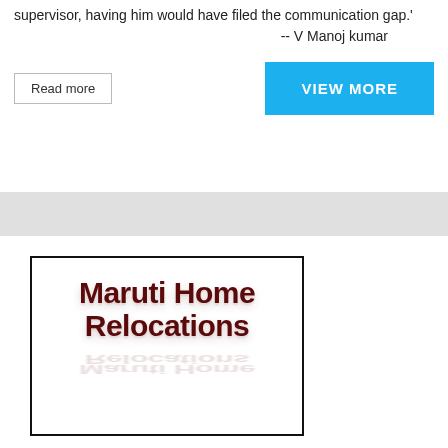supervisor, having him would have filed the communication gap.'
-- V Manoj kumar
Read more
VIEW MORE
[Figure (logo): Maruti Home Relocations logo — bold dark red text on white background with black border, text has a reflection effect below]